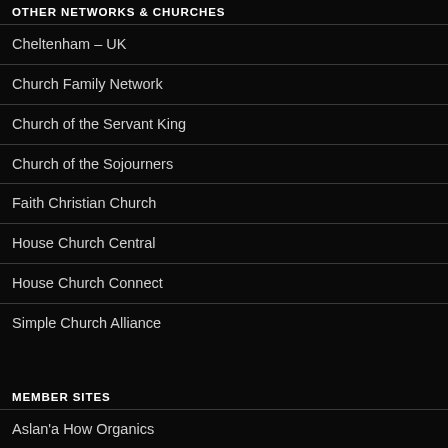OTHER NETWORKS & CHURCHES
Cheltenham – UK
Church Family Network
Church of the Servant King
Church of the Sojourners
Faith Christian Church
House Church Central
House Church Connect
Simple Church Alliance
MEMBER SITES
Aslan'a How Organics